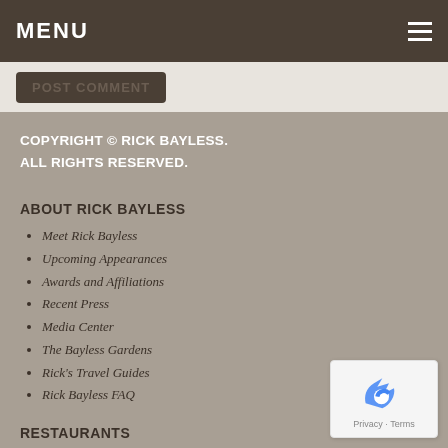MENU
POST COMMENT
COPYRIGHT © RICK BAYLESS. ALL RIGHTS RESERVED.
ABOUT RICK BAYLESS
Meet Rick Bayless
Upcoming Appearances
Awards and Affiliations
Recent Press
Media Center
The Bayless Gardens
Rick's Travel Guides
Rick Bayless FAQ
RESTAURANTS
Frontera Grill
Topolobampo
Xoco
Bar Sótano
Tortas Frontera